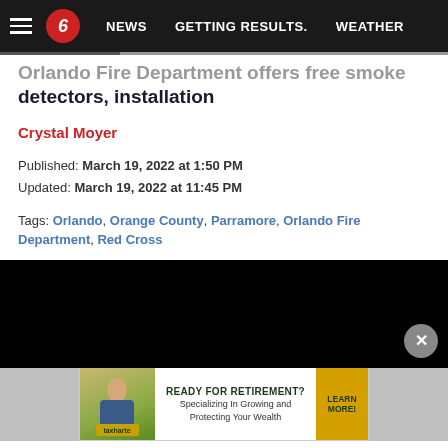NEWS | GETTING RESULTS. | WEATHER
Orlando Fire Department offers free smoke detectors, installation
Crystal Moyer
Published: March 19, 2022 at 1:50 PM
Updated: March 19, 2022 at 11:45 PM
Tags: Orlando, Orange County, Parramore, Orlando Fire Department, Red Cross
[Figure (screenshot): Black video player area with close (X) button]
[Figure (screenshot): Advertisement banner: READY FOR RETIREMENT? Specializing In Growing and Protecting Your Wealth. LEARN MORE!]